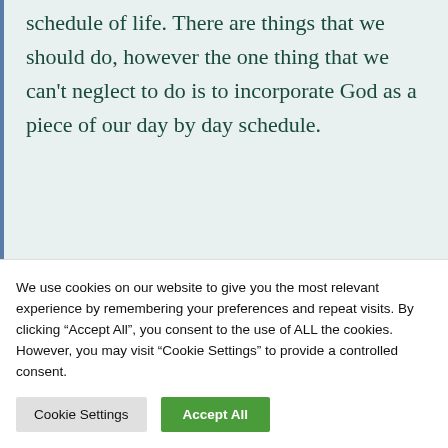schedule of life. There are things that we should do, however the one thing that we can't neglect to do is to incorporate God as a piece of our day by day schedule.
The main time Toksites are strict is the point
We use cookies on our website to give you the most relevant experience by remembering your preferences and repeat visits. By clicking "Accept All", you consent to the use of ALL the cookies. However, you may visit "Cookie Settings" to provide a controlled consent.